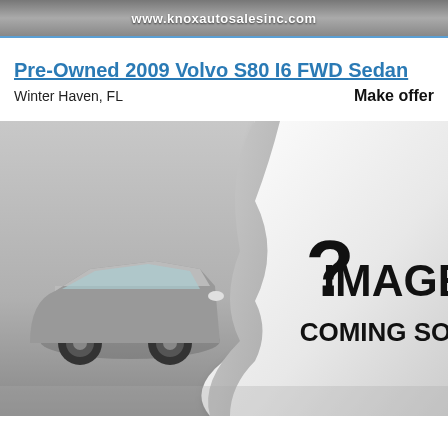www.knoxautosalesinc.com
Pre-Owned 2009 Volvo S80 I6 FWD Sedan
Winter Haven, FL                                                        Make offer
[Figure (illustration): Image Coming Soon placeholder with a peeling paper effect showing a question mark and the text IMAGE COMING SOON, with a partial view of a silver car in the background.]